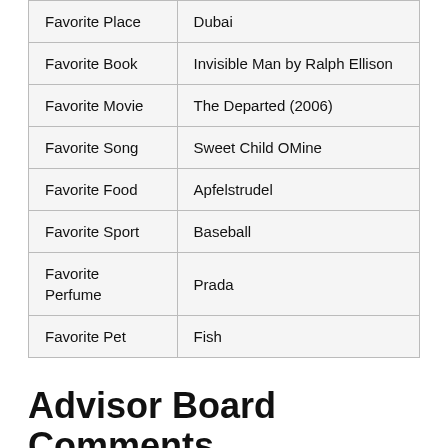| Favorite Place | Dubai |
| Favorite Book | Invisible Man by Ralph Ellison |
| Favorite Movie | The Departed (2006) |
| Favorite Song | Sweet Child OMine |
| Favorite Food | Apfelstrudel |
| Favorite Sport | Baseball |
| Favorite Perfume | Prada |
| Favorite Pet | Fish |
Advisor Board Comments